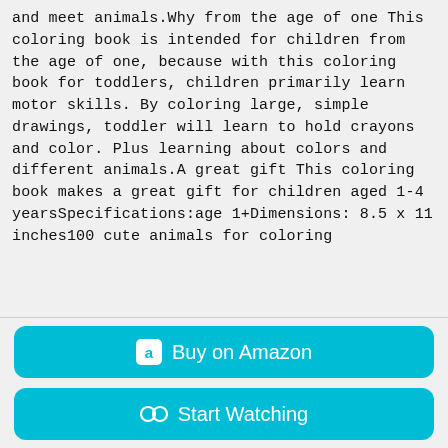and meet animals.Why from the age of one This coloring book is intended for children from the age of one, because with this coloring book for toddlers, children primarily learn motor skills. By coloring large, simple drawings, toddler will learn to hold crayons and color. Plus learning about colors and different animals.A great gift This coloring book makes a great gift for children aged 1-4 yearsSpecifications:age 1+Dimensions: 8.5 x 11 inches100 cute animals for coloring
Buy on Amazon
Start Watching